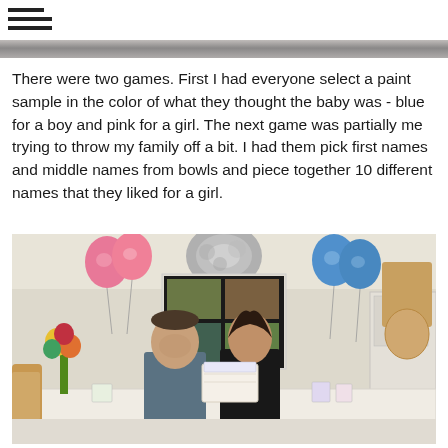[hamburger/list menu icon]
[Figure (other): Gray horizontal banner bar]
There were two games. First I had everyone select a paint sample in the color of what they thought the baby was - blue for a boy and pink for a girl. The next game was partially me trying to throw my family off a bit. I had them pick first names and middle names from bowls and piece together 10 different names that they liked for a girl.
[Figure (photo): A couple sitting at a table decorated for a gender reveal baby shower. Pink and blue balloons and gray tissue pom-poms are visible in the background. There is a white cake on the table in front of them, along with flowers, cups, and other table decorations.]